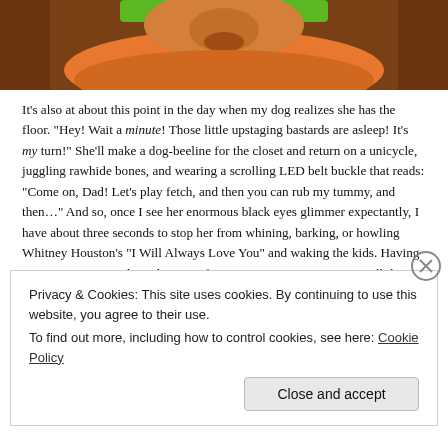[Figure (illustration): Partial view of a cartoon animated character — appears to be a dog or animal face with brown fur, an orange/green collar area, viewed from close up, cropped at the top of the page.]
It's also at about this point in the day when my dog realizes she has the floor. “Hey! Wait a minute! Those little upstaging bastards are asleep! It’s my turn!” She’ll make a dog-beeline for the closet and return on a unicycle, juggling rawhide bones, and wearing a scrolling LED belt buckle that reads: “Come on, Dad! Let’s play fetch, and then you can rub my tummy, and then…” And so, once I see her enormous black eyes glimmer expectantly, I have about three seconds to stop her from whining, barking, or howling Whitney Houston’s “I Will Always Love You” and waking the kids. Having given my poor, outshone-by-Twinfants canine some attention, I will then return to chores and/or Awesome Things. She’s usually fine with this until any sound
Privacy & Cookies: This site uses cookies. By continuing to use this website, you agree to their use.
To find out more, including how to control cookies, see here: Cookie Policy
Close and accept